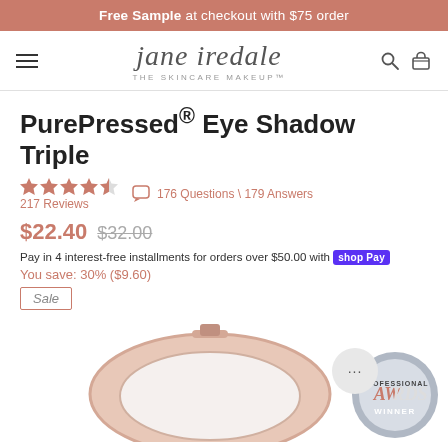Free Sample at checkout with $75 order
[Figure (logo): Jane Iredale THE SKINCARE MAKEUP logo with hamburger menu, search and cart icons]
PurePressed® Eye Shadow Triple
4.5 stars, 217 Reviews | 176 Questions \ 179 Answers
$22.40 $32.00
Pay in 4 interest-free installments for orders over $50.00 with shop Pay
You save: 30% ($9.60)
Sale
[Figure (photo): PurePressed Eye Shadow Triple compact product in rose gold, partially visible, with an awards winner badge in bottom right corner]